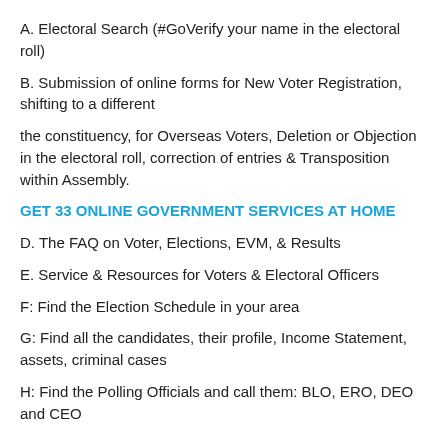A. Electoral Search (#GoVerify your name in the electoral roll)
B. Submission of online forms for New Voter Registration, shifting to a different
the constituency, for Overseas Voters, Deletion or Objection in the electoral roll, correction of entries & Transposition within Assembly.
GET 33 ONLINE GOVERNMENT SERVICES AT HOME
D. The FAQ on Voter, Elections, EVM, & Results
E. Service & Resources for Voters & Electoral Officers
F: Find the Election Schedule in your area
G: Find all the candidates, their profile, Income Statement, assets, criminal cases
H: Find the Polling Officials and call them: BLO, ERO, DEO and CEO